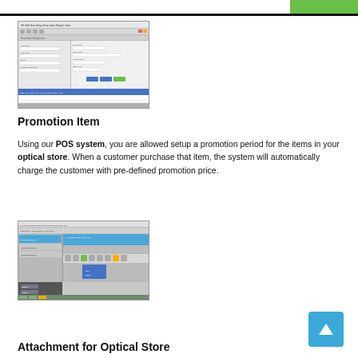[Figure (screenshot): Screenshot of a POS system promotion item setup interface showing form fields and a data table at the bottom]
Promotion Item
Using our POS system, you are allowed setup a promotion period for the items in your optical store. When a customer purchase that item, the system will automatically charge the customer with pre-defined promotion price.
[Figure (screenshot): Screenshot of a POS system showing an attachment/optical store interface with a list panel on the left and content area on the right, with toolbar icons]
Attachment for Optical Store